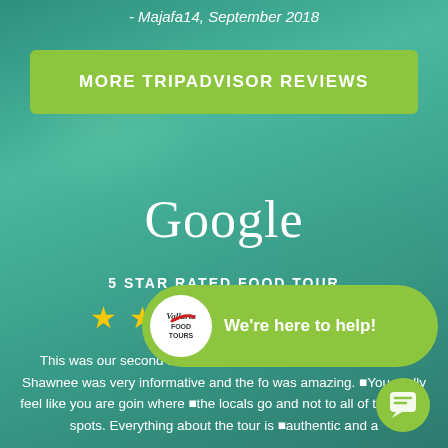- Majafa14, September 2018
MORE TRIPADVISOR REVIEWS
Google
5 STAR RATED FOOD TOUR
[Figure (illustration): Two gold star rating icons partially visible]
This was our second tour and it was even better than the first. Shawnee was very informative and the fo was amazing. ■You really feel like you are goin where ■the locals go and not to all of the touris spots. Everything about the tour is ■authentic and a
[Figure (logo): Vallarta Food Tours logo in a circular badge, white background with red and black text]
We're here to help!